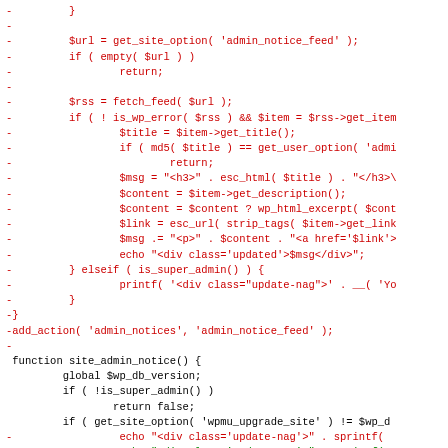[Figure (screenshot): A code diff screenshot showing PHP code with removed lines (red, prefixed with -) and added lines (green, prefixed with +). The code shows WordPress admin notice functions including site_admin_notice() and related hooks.]